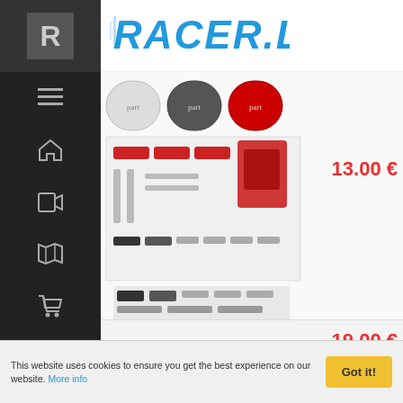[Figure (logo): RACER.LT logo in blue grunge style text]
[Figure (photo): Product photos of 4PCS GRC Aluminum Door Handle Holder parts in red and silver for RC cars]
13.00 €
4PCS GRC Aluminum Door Handle Holder FOR 1/10 RC TRAXXAS TRX4 T4 D90 D110
19.00 €
[Figure (photo): Small electronic circuit board/module product photo]
This website uses cookies to ensure you get the best experience on our website. More info
Got it!